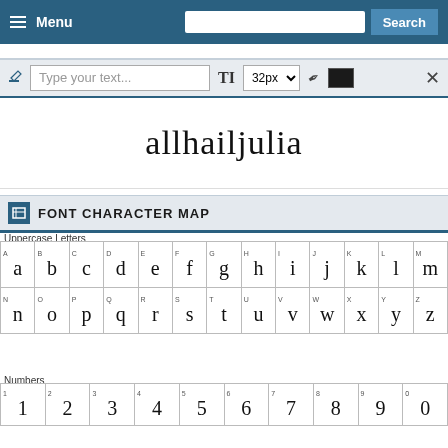Menu | Search
[Figure (screenshot): Web font preview tool showing text input toolbar with 'Type your text...' placeholder, 32px size selector, color picker, and cursive preview of 'allhailjulia']
FONT CHARACTER MAP
Uppercase Letters
| A | B | C | D | E | F | G | H | I | J | K | L | M | N | O | P | Q | R | S | T | U | V | W | X | Y | Z |
| --- | --- | --- | --- | --- | --- | --- | --- | --- | --- | --- | --- | --- | --- | --- | --- | --- | --- | --- | --- | --- | --- | --- | --- | --- | --- |
| a | b | c | d | e | f | g | h | i | j | k | l | m | n | o | p | q | r | s | t | u | v | w | x | y | z |
Numbers
| 1 | 2 | 3 | 4 | 5 | 6 | 7 | 8 | 9 | 0 |
| --- | --- | --- | --- | --- | --- | --- | --- | --- | --- |
| 1 | 2 | 3 | 4 | 5 | 6 | 7 | 8 | 9 | 0 |